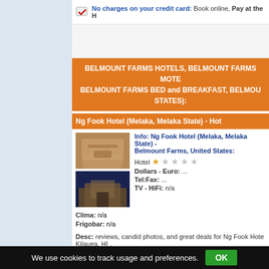No charges on your credit card: Book online, Pay at the H
BELMOUNT FARMS HOTELS, BELMOUNT FARMS MOTE BELMOUNT FARMS BED and BREAKFAST, BELMOU STATES):
Ng Fook Hotel (Melaka, Melaka State) - Hot
Info: Ng Fook Hotel (Melaka, Melaka State) - Belmount Farms, United States:
Hotel ★☆☆☆☆
Dollars - Euro: ...
Tel:Fax: ...
TV - HiFi: n/a
Clima: n/a
Frigobar: n/a
Desc: reviews, candid photos, and great deals for Ng Fook Hote Kilauea, HI .
In: United States
We use cookies to track usage and preferences. OK